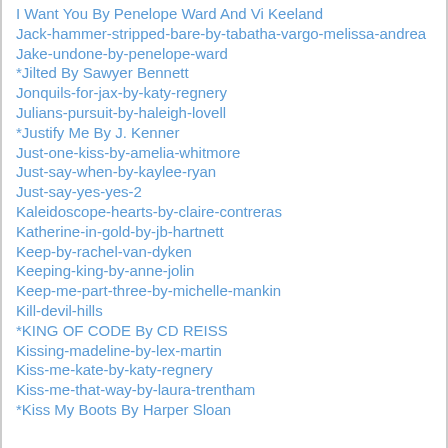I Want You By Penelope Ward And Vi Keeland
Jack-hammer-stripped-bare-by-tabatha-vargo-melissa-andrea
Jake-undone-by-penelope-ward
*Jilted By Sawyer Bennett
Jonquils-for-jax-by-katy-regnery
Julians-pursuit-by-haleigh-lovell
*Justify Me By J. Kenner
Just-one-kiss-by-amelia-whitmore
Just-say-when-by-kaylee-ryan
Just-say-yes-yes-2
Kaleidoscope-hearts-by-claire-contreras
Katherine-in-gold-by-jb-hartnett
Keep-by-rachel-van-dyken
Keeping-king-by-anne-jolin
Keep-me-part-three-by-michelle-mankin
Kill-devil-hills
*KING OF CODE By CD REISS
Kissing-madeline-by-lex-martin
Kiss-me-kate-by-katy-regnery
Kiss-me-that-way-by-laura-trentham
*Kiss My Boots By Harper Sloan